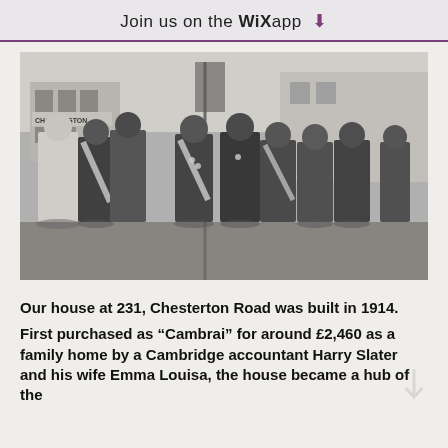Join us on the WiX app
[Figure (photo): Black and white photograph of a group of men in military/veterans attire, some wearing sashes and medals, standing outdoors in front of a building with a Charrington sign, with a flag pole in the centre.]
Our house at 231, Chesterton Road was built in 1914.
First purchased as “Cambrai” for around £2,460 as a family home by a Cambridge accountant Harry Slater and his wife Emma Louisa, the house became a hub of the